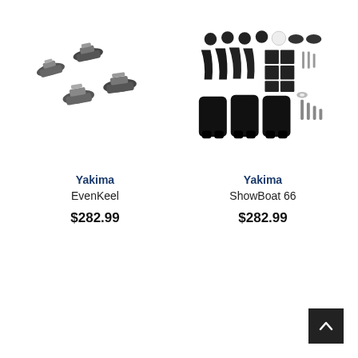[Figure (photo): Yakima EvenKeel product photo showing four grey/black mounting clamp pieces arranged diagonally]
Yakima
EvenKeel
$282.99
[Figure (photo): Yakima ShowBoat 66 product photo showing a kit of black plastic brackets, rubber pads, screws and hardware pieces laid out on white background]
Yakima
ShowBoat 66
$282.99